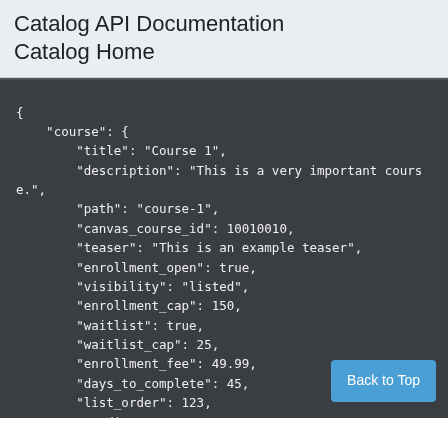Catalog API Documentation
Catalog Home
{
    "course": {
        "title": "Course 1",
        "description": "This is a very important course.",
        "path": "course-1",
        "canvas_course_id": 10010010,
        "teaser": "This is an example teaser",
        "enrollment_open": true,
        "visibility": "listed",
        "enrollment_cap": 150,
        "waitlist": true,
        "waitlist_cap": 25,
        "enrollment_fee": 49.99,
        "days_to_complete": 45,
        "list_order": 123,
        "credits": 4,
        "sku": "abc1234",
        "tag_names": [
          "Tag",
          "Another Tag"